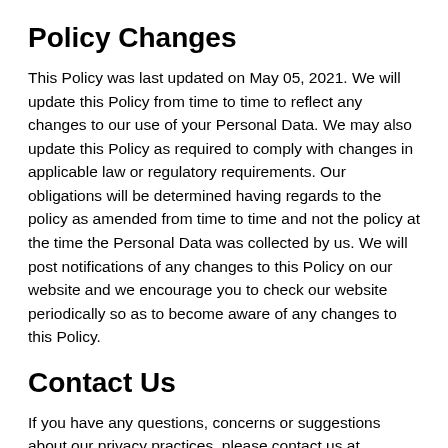Policy Changes
This Policy was last updated on May 05, 2021. We will update this Policy from time to time to reflect any changes to our use of your Personal Data. We may also update this Policy as required to comply with changes in applicable law or regulatory requirements. Our obligations will be determined having regards to the policy as amended from time to time and not the policy at the time the Personal Data was collected by us. We will post notifications of any changes to this Policy on our website and we encourage you to check our website periodically so as to become aware of any changes to this Policy.
Contact Us
If you have any questions, concerns or suggestions about our privacy practices, please contact us at info@themdlink.com.
Founded in 2017 with the mission to improve and reinvent access to healthcare across the Caribbean. MDLink is an